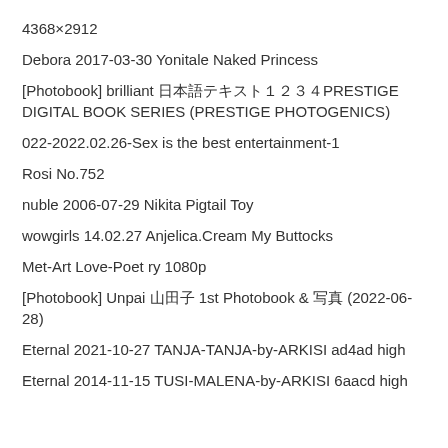4368×2912
Debora 2017-03-30 Yonitale Naked Princess
[Photobook] brilliant 日本語テキストPRESTIGE DIGITAL BOOK SERIES (PRESTIGE PHOTOGENICS)
022-2022.02.26-Sex is the best entertainment-1
Rosi No.752
nuble 2006-07-29 Nikita Pigtail Toy
wowgirls 14.02.27 Anjelica.Cream My Buttocks
Met-Art Love-Poet ry 1080p
[Photobook] Unpai 日本語 1st Photobook & 日本 (2022-06-28)
Eternal 2021-10-27 TANJA-TANJA-by-ARKISI ad4ad high
Eternal 2014-11-15 TUSI-MALENA-by-ARKISI 6aacd high